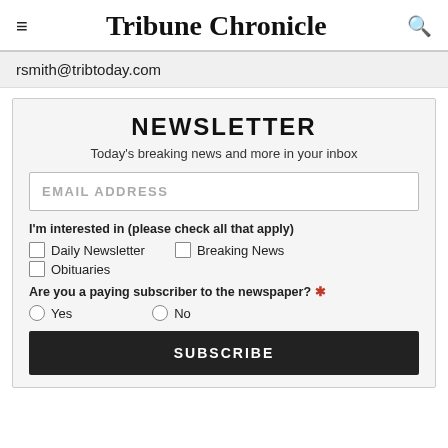Tribune Chronicle
rsmith@tribtoday.com
NEWSLETTER
Today's breaking news and more in your inbox
EMAIL ADDRESS
I'm interested in (please check all that apply)
Daily Newsletter
Breaking News
Obituaries
Are you a paying subscriber to the newspaper? *
Yes
No
SUBSCRIBE